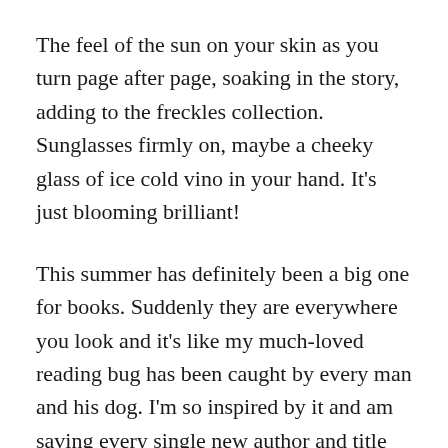The feel of the sun on your skin as you turn page after page, soaking in the story, adding to the freckles collection. Sunglasses firmly on, maybe a cheeky glass of ice cold vino in your hand. It’s just blooming brilliant!
This summer has definitely been a big one for books. Suddenly they are everywhere you look and it’s like my much-loved reading bug has been caught by every man and his dog. I’m so inspired by it and am saving every single new author and title that I like the sound of in notes in my phone, scribbled bits of paper, Instagram folders…it’s almost like people have become so sick of being switched permanently to “on” that they are frantically seeking escape in the most off-way you can